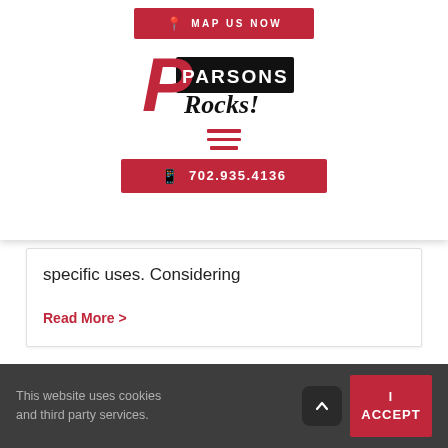MAP US NOW
[Figure (logo): Parsons Rocks! company logo with red stylized P and black text]
[Figure (other): Hamburger menu icon (three red horizontal lines)]
702.935.4136
specific uses. Considering
Read More >
This website uses cookies and third party services. I ACCEPT